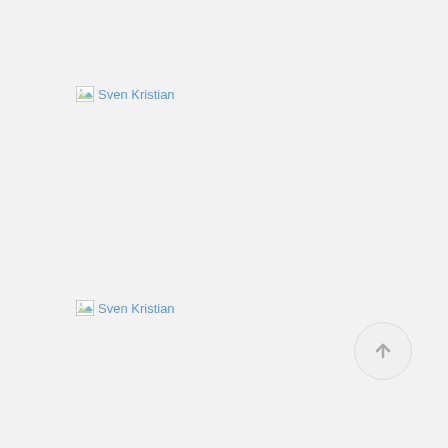[Figure (illustration): Broken image placeholder with alt text 'Sven Kristian' - shows broken image icon followed by blue link text]
[Figure (illustration): Broken image placeholder with alt text 'Sven Kristian' - shows broken image icon followed by blue link text]
[Figure (illustration): Scroll-to-top button - circular button with upward arrow icon in grey]